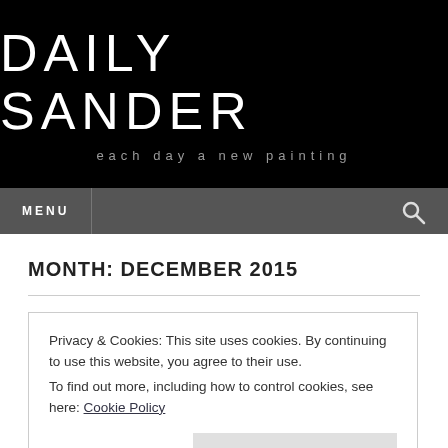DAILY SANDER
each day a new painting
MONTH: DECEMBER 2015
Privacy & Cookies: This site uses cookies. By continuing to use this website, you agree to their use.
To find out more, including how to control cookies, see here: Cookie Policy
Close and accept